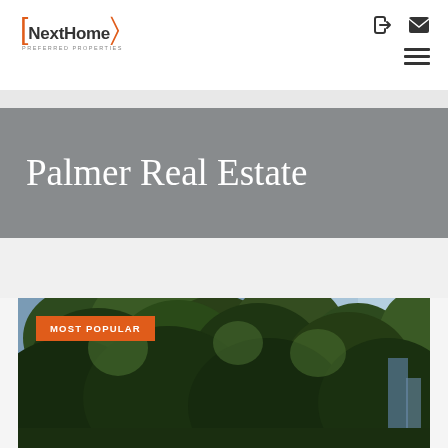[Figure (logo): NextHome Preferred Properties logo with orange brackets]
Palmer Real Estate
MOST POPULAR
[Figure (photo): Outdoor photo showing trees (pine/cedar) with blue sky, property listing image]